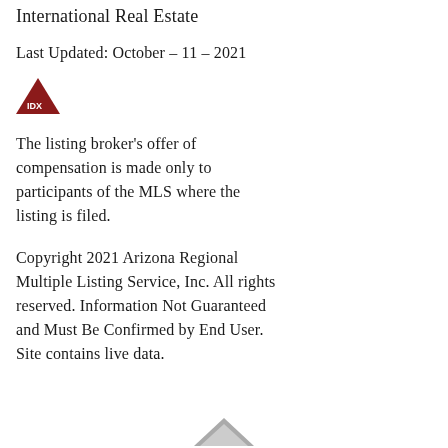International Real Estate
Last Updated: October – 11 – 2021
[Figure (logo): IDX logo — dark red triangle with IDX text]
The listing broker's offer of compensation is made only to participants of the MLS where the listing is filed.
Copyright 2021 Arizona Regional Multiple Listing Service, Inc. All rights reserved. Information Not Guaranteed and Must Be Confirmed by End User. Site contains live data.
[Figure (logo): Small grey/silver house/roof logo at bottom center]